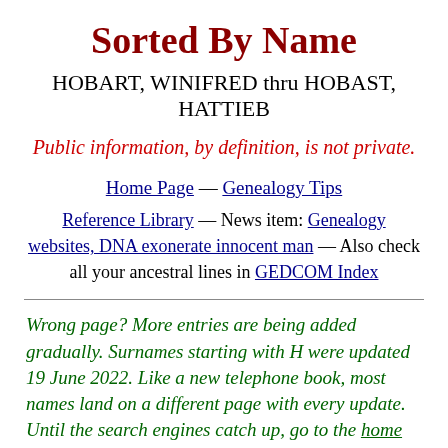Sorted By Name
HOBART, WINIFRED thru HOBAST, HATTIEB
Public information, by definition, is not private.
Home Page — Genealogy Tips
Reference Library — News item: Genealogy websites, DNA exonerate innocent man — Also check all your ancestral lines in GEDCOM Index
Wrong page? More entries are being added gradually. Surnames starting with H were updated 19 June 2022. Like a new telephone book, most names land on a different page with every update. Until the search engines catch up, go to the home page and use the